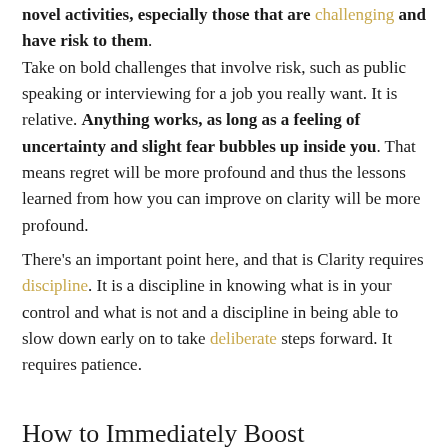novel activities, especially those that are challenging and have risk to them. Take on bold challenges that involve risk, such as public speaking or interviewing for a job you really want. It is relative. Anything works, as long as a feeling of uncertainty and slight fear bubbles up inside you. That means regret will be more profound and thus the lessons learned from how you can improve on clarity will be more profound. There's an important point here, and that is Clarity requires discipline. It is a discipline in knowing what is in your control and what is not and a discipline in being able to slow down early on to take deliberate steps forward. It requires patience.
How to Immediately Boost